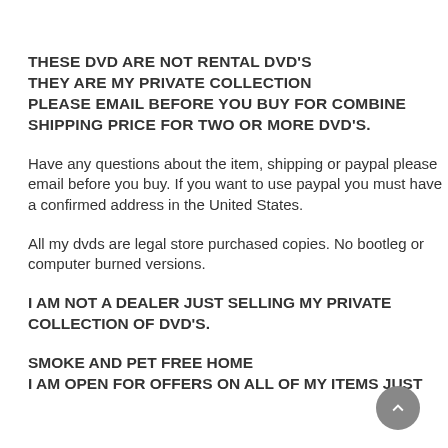THESE DVD ARE NOT RENTAL DVD'S
THEY ARE MY PRIVATE COLLECTION
PLEASE EMAIL BEFORE YOU BUY FOR COMBINE SHIPPING PRICE FOR TWO OR MORE DVD'S.
Have any questions about the item, shipping or paypal please email before you buy. If you want to use paypal you must have a confirmed address in the United States.
All my dvds are legal store purchased copies. No bootleg or computer burned versions.
I AM NOT A DEALER JUST SELLING MY PRIVATE COLLECTION OF DVD'S.
SMOKE AND PET FREE HOME
I AM OPEN FOR OFFERS ON ALL OF MY ITEMS JUST